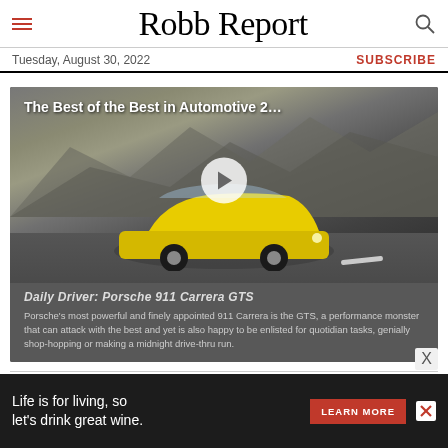Robb Report
Tuesday, August 30, 2022
SUBSCRIBE
[Figure (screenshot): Video thumbnail showing a yellow Porsche 911 Carrera GTS convertible on a road with desert mountain backdrop. White play button in center. Title overlay reads 'The Best of the Best in Automotive 2…'. Below the image area: 'Daily Driver: Porsche 911 Carrera GTS' subtitle and description text.]
Daily Driver: Porsche 911 Carrera GTS
Porsche's most powerful and finely appointed 911 Carrera is the GTS, a performance monster that can attack with the best and yet is also happy to be enlisted for quotidian tasks, genially shop-hopping or making a midnight drive-thru run.
[Figure (photo): Partial view of a dark automotive scene, bottom of page]
Life is for living, so let's drink great wine.
LEARN MORE